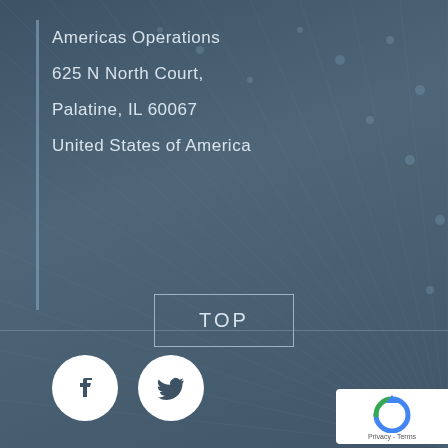Americas Operations
625 N North Court,
Palatine, IL 60067
United States of America
[Figure (illustration): Facebook and Twitter social media icons (white circles with dark logos)]
TOP
[Figure (logo): Google reCAPTCHA badge showing Privacy - Terms]